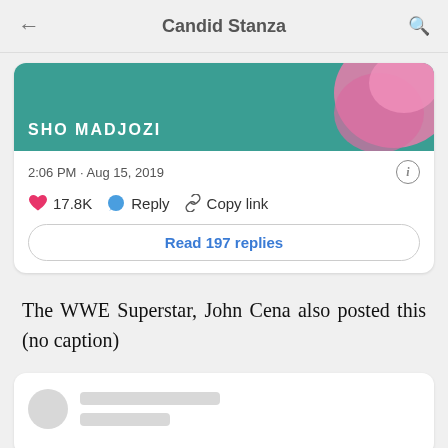Candid Stanza
[Figure (screenshot): Social media post card showing 'SHO MADJOZI' with teal background and pink hair image, timestamp 2:06 PM · Aug 15, 2019, 17.8K likes, Reply and Copy link actions, Read 197 replies button]
The WWE Superstar, John Cena also posted this (no caption)
[Figure (screenshot): Partial social media post card showing avatar placeholder and text line placeholders]